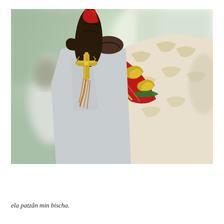[Figure (photo): A close-up photograph of a person's dark-skinned hand holding a golden Coptic/Ethiopian Orthodox cross attached to a red cloth or fabric. The person is wearing ornate ceremonial vestments including a red and gold embroidered garment with green accents and a white/cream brocade robe with gold patterns. The background is blurred with soft bokeh showing white-robed figures and outdoor greenery.]
ela patzân min bischa.